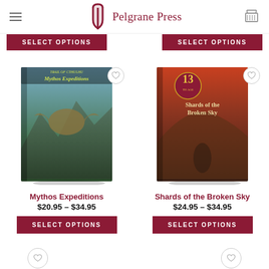Pelgrane Press
[Figure (screenshot): SELECT OPTIONS buttons partially visible at top of page]
[Figure (photo): Book cover: Mythos Expeditions — fantasy landscape with eagle creature]
Mythos Expeditions
$20.95 – $34.95
SELECT OPTIONS
[Figure (photo): Book cover: Shards of the Broken Sky — 13th Age logo, fiery sky scene]
Shards of the Broken Sky
$24.95 – $34.95
SELECT OPTIONS